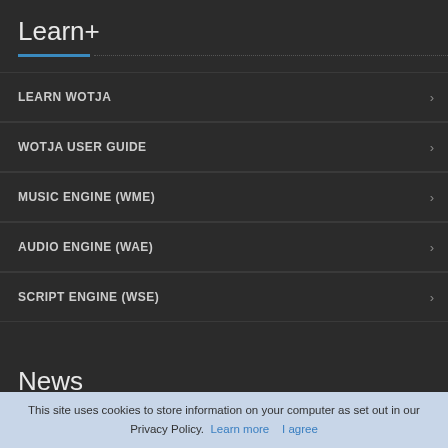Learn+
LEARN WOTJA
WOTJA USER GUIDE
MUSIC ENGINE (WME)
AUDIO ENGINE (WAE)
SCRIPT ENGINE (WSE)
News
NEWS & SOCIAL
BLOG
PRESS RELEASES
This site uses cookies to store information on your computer as set out in our Privacy Policy. Learn more   I agree